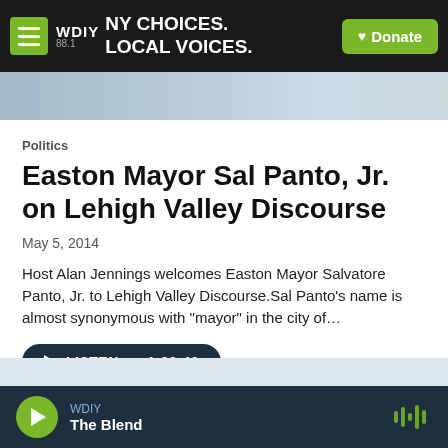WDIY 88.1 | NY CHOICES. LOCAL VOICES. | Donate
[Figure (photo): Hero image strip showing partial photo at top of article]
Politics
Easton Mayor Sal Panto, Jr. on Lehigh Valley Discourse
May 5, 2014
Host Alan Jennings welcomes Easton Mayor Salvatore Panto, Jr. to Lehigh Valley Discourse.Sal Panto's name is almost synonymous with "mayor" in the city of…
LISTEN • 1:00:46
WDIY | The Blend